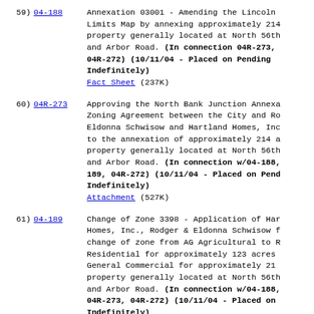59) 04-188 Annexation 03001 - Amending the Lincoln Limits Map by annexing approximately 214 property generally located at North 56th and Arbor Road. (In connection 04R-273, 04R-272) (10/11/04 - Placed on Pending Indefinitely) Fact Sheet (237K)
60) 04R-273 Approving the North Bank Junction Annexa Zoning Agreement between the City and Ro Eldonna Schwisow and Hartland Homes, Inc to the annexation of approximately 214 a property generally located at North 56th and Arbor Road. (In connection w/04-188, 189, 04R-272) (10/11/04 - Placed on Pend Indefinitely) Attachment (527K)
61) 04-189 Change of Zone 3398 - Application of Har Homes, Inc., Rodger & Eldonna Schwisow f change of zone from AG Agricultural to R Residential for approximately 123 acres General Commercial for approximately 21 property generally located at North 56th and Arbor Road. (In connection w/04-188, 04R-273, 04R-272) (10/11/04 - Placed on Indefinitely) Fact Sheet (217K)
62) 04R-272 Special Permit 2004 - Application of Ha